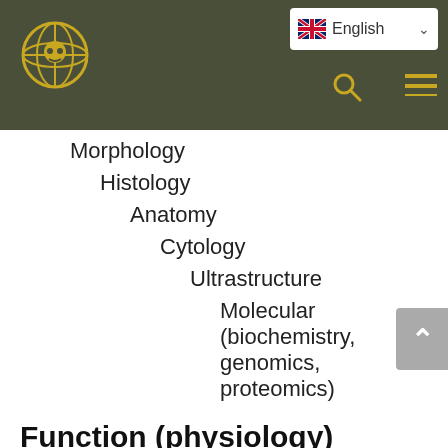English [navigation header with logo, language selector, search, and menu icons]
Morphology
Histology
Anatomy
Cytology
Ultrastructure
Molecular (biochemistry, genomics, proteomics)
Function (physiology)
While morphology deals with the categorization of plant parts, physiology describes and categorizes plant processes, usually understood as functions (purposes),